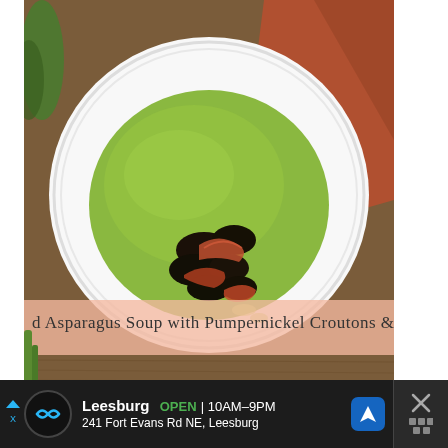[Figure (photo): A white bowl of green asparagus soup topped with pumpernickel croutons and prosciutto crisps, on a wooden table with an orange napkin. A semi-transparent pink banner overlays the lower portion of the image with the text: 'Asparagus Soup with Pumpernickel Croutons & Prosciutto'.]
Roasted Asparagus Soup with Pumpernickel Croutons & Prosciutto Crisps Recipe (+ Vegan Version)
[Figure (screenshot): Advertisement bar at the bottom: dark background showing a Leesburg store location. Text reads: Leesburg OPEN 10AM–9PM, 241 Fort Evans Rd NE, Leesburg. Includes circular logo icon, blue navigation arrow icon, and a close/dismiss X button on the right side.]